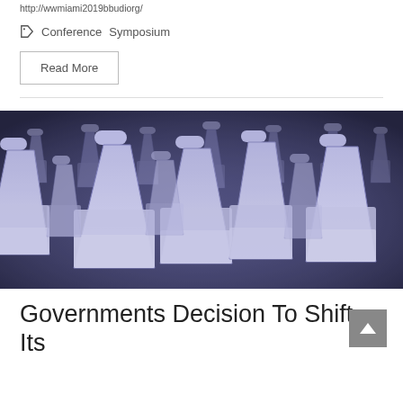http://wwmiami2019bbudiorg/
Conference  Symposium
Read More
[Figure (photo): Laboratory Erlenmeyer flasks filled with white liquid, photographed in blue-tinted monochrome style, multiple flasks arranged in rows]
Governments Decision To Shift Its